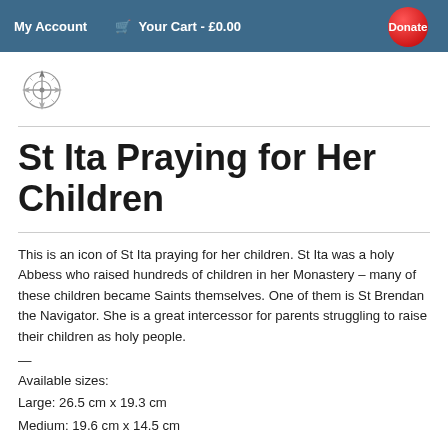My Account   Your Cart - £0.00   Donate
[Figure (logo): Celtic cross compass logo in grey/silver]
St Ita Praying for Her Children
This is an icon of St Ita praying for her children. St Ita was a holy Abbess who raised hundreds of children in her Monastery – many of these children became Saints themselves. One of them is St Brendan the Navigator. She is a great intercessor for parents struggling to raise their children as holy people.
—
Available sizes:
Large: 26.5 cm x 19.3 cm
Medium: 19.6 cm x 14.5 cm